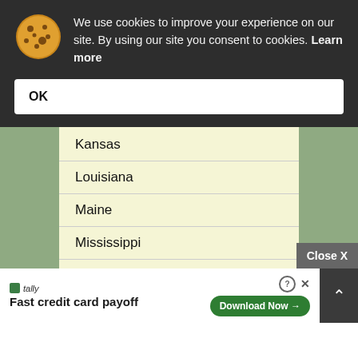We use cookies to improve your experience on our site. By using our site you consent to cookies. Learn more
OK
Kansas
Louisiana
Maine
Mississippi
Missouri
Nebraska
Close X
Tally Fast credit card payoff Download Now →